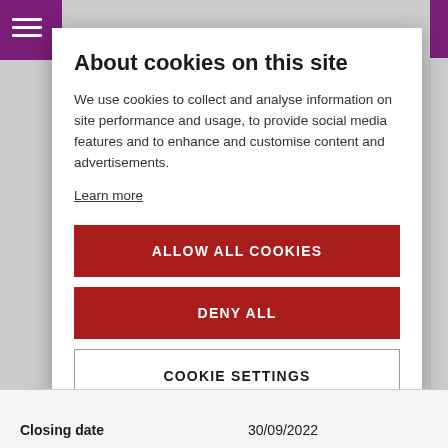About cookies on this site
We use cookies to collect and analyse information on site performance and usage, to provide social media features and to enhance and customise content and advertisements.
Learn more
ALLOW ALL COOKIES
DENY ALL
COOKIE SETTINGS
Closing date   30/09/2022